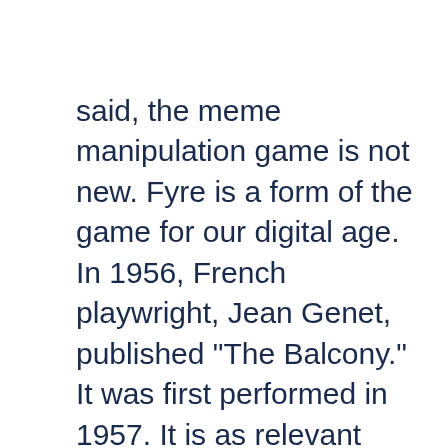[Figure (other): Hamburger menu icon (three teal horizontal lines) in top-right corner]
be mindful. That being said, the meme manipulation game is not new. Fyre is a form of the game for our digital age. In 1956, French playwright, Jean Genet, published "The Balcony." It was first performed in 1957. It is as relevant today as it was in the world of "Father Knows Best," a hit TV show that promoted an idyllic image of the American family. Genet ripped off society's mask to reveal a darker face lurking beneath. This excerpt from Wikipedia sheds light on Genet's vision: "The play's dramatic structure integrates Genet's concern with meta-theatricality and role-playing and consists of two central strands: a political conflict